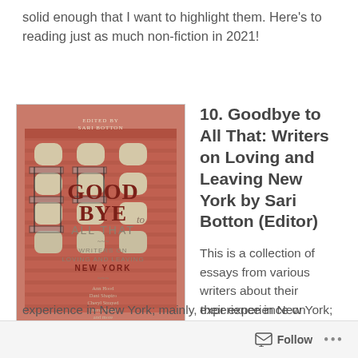solid enough that I want to highlight them. Here's to reading just as much non-fiction in 2021!
[Figure (illustration): Book cover of 'Goodbye to All That: Writers on Loving and Leaving New York' edited by Sari Botton. The cover features an illustrated red brick New York City apartment building with fire escapes. Text on cover includes 'EDITED BY SARI BOTTON', 'GOOD BYE to ALL THAT', 'WRITERS ON LOVING AND LEAVING NEW YORK', and author names including Ann Hood, Dani Shapiro, Cheryl Strayed, Emma Straub and more.]
10. Goodbye to All That: Writers on Loving and Leaving New York by Sari Botton (Editor)
This is a collection of essays from various writers about their experience in New York; mainly, their experience on
Follow ...